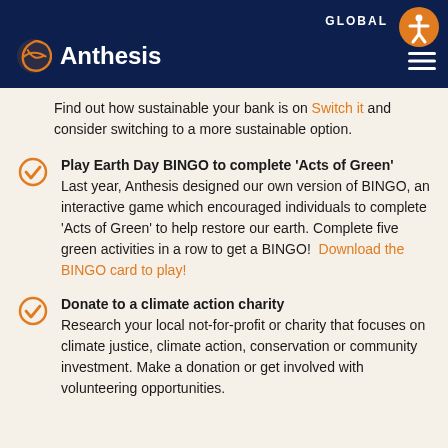GLOBAL — Anthesis (logo)
Find out how sustainable your bank is on Switch it and consider switching to a more sustainable option.
Play Earth Day BINGO to complete ‘Acts of Green’ — Last year, Anthesis designed our own version of BINGO, an interactive game which encouraged individuals to complete ‘Acts of Green’ to help restore our earth. Complete five green activities in a row to get a BINGO! Download the BINGO card to play!
Donate to a climate action charity — Research your local not-for-profit or charity that focuses on climate justice, climate action, conservation or community investment. Make a donation or get involved with volunteering opportunities.